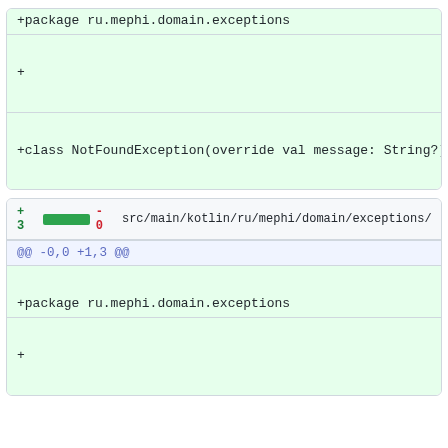+package ru.mephi.domain.exceptions
+
+class NotFoundException(override val message: String?) : E
+ 3 [green bar] - 0  src/main/kotlin/ru/mephi/domain/exceptions/Una
@@ -0,0 +1,3 @@
+package ru.mephi.domain.exceptions
+